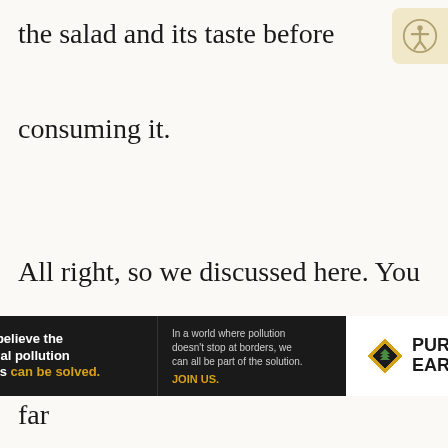the salad and its taste before consuming it.
All right, so we discussed here. You know why you don't have to go so far as to not throw anything directly into the trash or compost bin at all. But
[Figure (infographic): Pure Earth advertisement banner. Black background with white bold text: 'We believe the global pollution crisis can be solved.' in yellow. Middle section with small text: 'In a world where pollution doesn't stop at borders, we can all be part of the solution.' with 'JOIN US.' in yellow. Right side shows Pure Earth logo with diamond/shield icon and green layered symbol.]